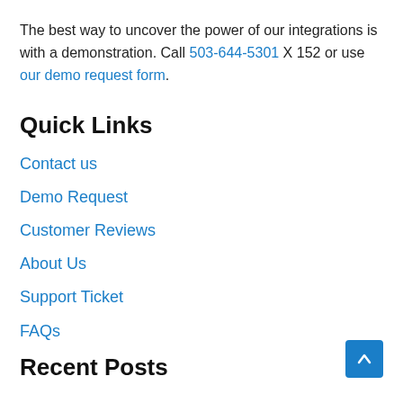The best way to uncover the power of our integrations is with a demonstration. Call 503-644-5301 X 152 or use our demo request form.
Quick Links
Contact us
Demo Request
Customer Reviews
About Us
Support Ticket
FAQs
Recent Posts